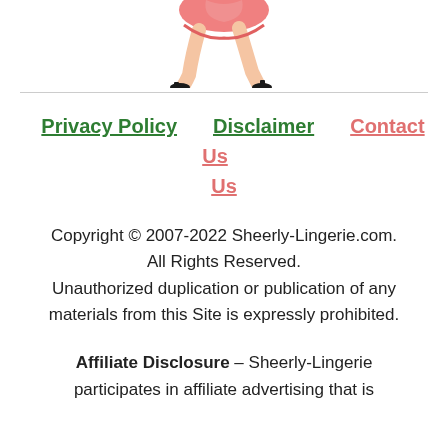[Figure (illustration): Partial illustration of a woman in pink lingerie with black high heels, cropped showing lower body/legs only]
Privacy Policy   Disclaimer   Contact Us
Copyright © 2007-2022 Sheerly-Lingerie.com. All Rights Reserved. Unauthorized duplication or publication of any materials from this Site is expressly prohibited.
Affiliate Disclosure – Sheerly-Lingerie participates in affiliate advertising that is